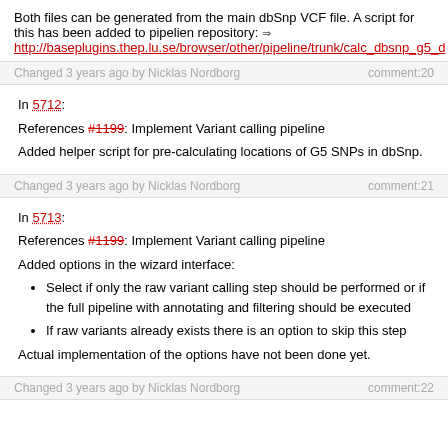Both files can be generated from the main dbSnp VCF file. A script for this has been added to pipelien repository: → http://baseplugins.thep.lu.se/browser/other/pipeline/trunk/calc_dbsnp_g5_d
Changed 3 years ago by Nicklas Nordborg    comment:20
In 5712:
References #1199: Implement Variant calling pipeline
Added helper script for pre-calculating locations of G5 SNPs in dbSnp.
Changed 3 years ago by Nicklas Nordborg    comment:21
In 5713:
References #1199: Implement Variant calling pipeline
Added options in the wizard interface:
Select if only the raw variant calling step should be performed or if the full pipeline with annotating and filtering should be executed
If raw variants already exists there is an option to skip this step
Actual implementation of the options have not been done yet.
Changed 3 years ago by Nicklas Nordborg    comment:22